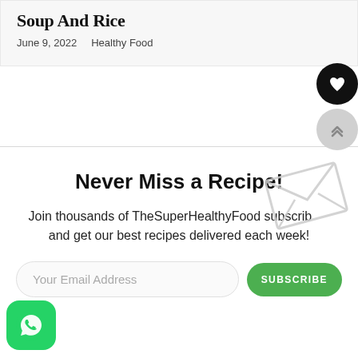Soup And Rice
June 9, 2022  Healthy Food
Never Miss a Recipe!
Join thousands of TheSuperHealthyFood subscribers and get our best recipes delivered each week!
Your Email Address
SUBSCRIBE